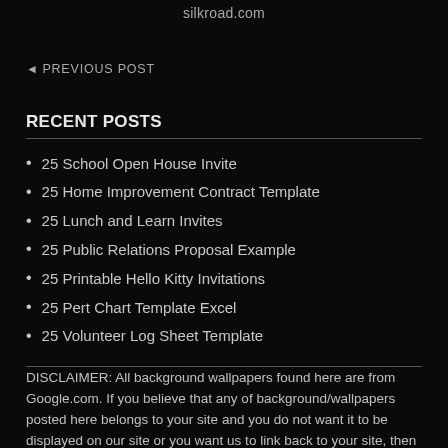silkroad.com
◄ PREVIOUS POST
RECENT POSTS
25 School Open House Invite
25 Home Improvement Contract Template
25 Lunch and Learn Invites
25 Public Relations Proposal Example
25 Printable Hello Kitty Invitations
25 Pert Chart Template Excel
25 Volunteer Log Sheet Template
DISCLAIMER: All background wallpapers found here are from Google.com. If you believe that any of background/wallpapers posted here belongs to your site and you do not want it to be displayed on our site or you want us to link back to your site, then please contact us and we will take action immediately. We